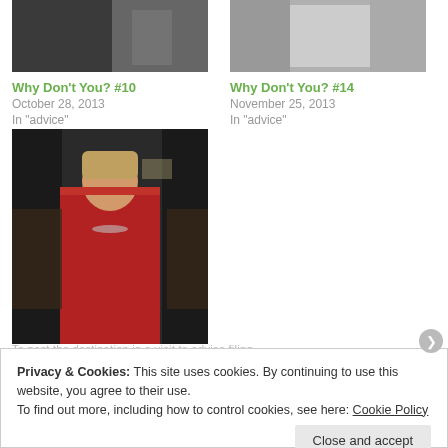[Figure (photo): Partial top image left column - dark/grayscale photo cropped at top]
Why Don't You? #10
October 28, 2013
In "advice"
[Figure (photo): Partial top image right column - grayscale photo cropped at top]
Why Don't You? #14
November 25, 2013
In "advice"
[Figure (photo): Woman in red outfit smiling at event, color photo]
WHY DON'T YOU? #226
April 13, 2020
In "advice"
Privacy & Cookies: This site uses cookies. By continuing to use this website, you agree to their use. To find out more, including how to control cookies, see here: Cookie Policy
Close and accept